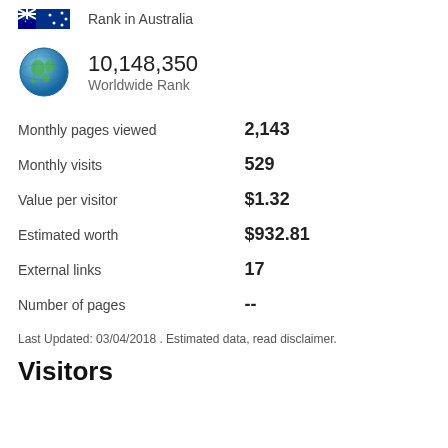[Figure (illustration): Australian flag icon with 'Rank in Australia' label]
[Figure (illustration): Globe icon representing worldwide rank]
10,148,350
Worldwide Rank
| Metric | Value |
| --- | --- |
| Monthly pages viewed | 2,143 |
| Monthly visits | 529 |
| Value per visitor | $1.32 |
| Estimated worth | $932.81 |
| External links | 17 |
| Number of pages | -- |
Last Updated: 03/04/2018 . Estimated data, read disclaimer.
Visitors